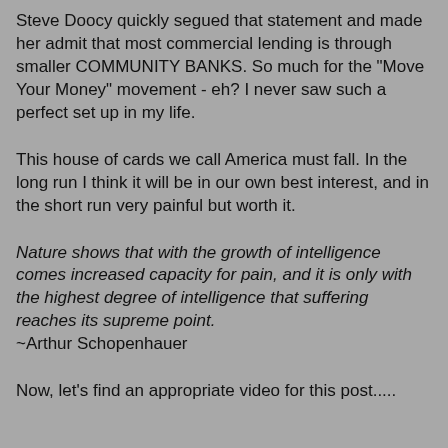Steve Doocy quickly segued that statement and made her admit that most commercial lending is through smaller COMMUNITY BANKS. So much for the "Move Your Money" movement - eh? I never saw such a perfect set up in my life.
This house of cards we call America must fall. In the long run I think it will be in our own best interest, and in the short run very painful but worth it.
Nature shows that with the growth of intelligence comes increased capacity for pain, and it is only with the highest degree of intelligence that suffering reaches its supreme point.
~Arthur Schopenhauer
Now, let's find an appropriate video for this post.....